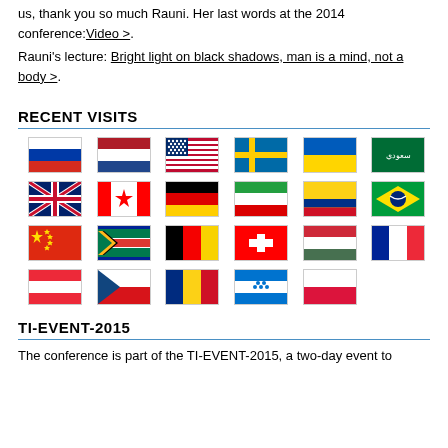us, thank you so much Rauni. Her last words at the 2014 conference: Video >.
Rauni's lecture: Bright light on black shadows, man is a mind, not a body >.
RECENT VISITS
[Figure (infographic): Grid of country flags: Russia, Netherlands, USA, Sweden, Ukraine, Saudi Arabia, UK, Canada, Germany, Iran, Colombia, Brazil, China, South Africa, Belgium, Switzerland, Hungary, France, Austria, Czech Republic, Romania, Honduras, Poland]
TI-EVENT-2015
The conference is part of the TI-EVENT-2015, a two-day event to